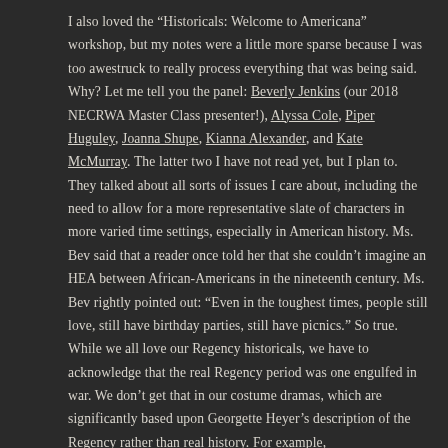I also loved the “Historicals: Welcome to Americana” workshop, but my notes were a little more sparse because I was too awestruck to really process everything that was being said. Why? Let me tell you the panel: Beverly Jenkins (our 2018 NECRWA Master Class presenter!), Alyssa Cole, Piper Huguley, Joanna Shupe, Kianna Alexander, and Kate McMurray. The latter two I have not read yet, but I plan to. They talked about all sorts of issues I care about, including the need to allow for a more representative slate of characters in more varied time settings, especially in American history. Ms. Bev said that a reader once told her that she couldn’t imagine an HEA between African-Americans in the nineteenth century. Ms. Bev rightly pointed out: “Even in the toughest times, people still love, still have birthday parties, still have picnics.” So true. While we all love our Regency historicals, we have to acknowledge that the real Regency period was one engulfed in war. We don’t get that in our costume dramas, which are significantly based upon Georgette Heyer’s description of the Regency rather than real history. For example,